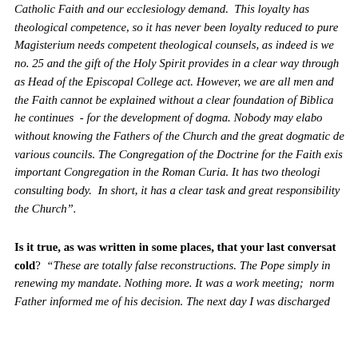Catholic Faith and our ecclesiology demand.  This loyalty has theological competence, so it has never been loyalty reduced to pure Magisterium needs competent theological counsels, as indeed is we no. 25 and the gift of the Holy Spirit provides in a clear way through as Head of the Episcopal College act. However, we are all men and the Faith cannot be explained without a clear foundation of Biblica he continues  - for the development of dogma. Nobody may elabo without knowing the Fathers of the Church and the great dogmatic de various councils. The Congregation of the Doctrine for the Faith exis important Congregation in the Roman Curia. It has two theologi consulting body.  In short, it has a clear task and great responsibility the Church".
Is it true, as was written in some places, that your last conversat cold?  "These are totally false reconstructions. The Pope simply in renewing my mandate. Nothing more. It was a work meeting;  norm Father informed me of his decision. The next day I was discharged